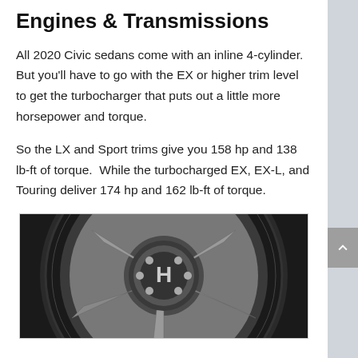Engines & Transmissions
All 2020 Civic sedans come with an inline 4-cylinder.  But you'll have to go with the EX or higher trim level to get the turbocharger that puts out a little more horsepower and torque.
So the LX and Sport trims give you 158 hp and 138 lb-ft of torque.  While the turbocharged EX, EX-L, and Touring deliver 174 hp and 162 lb-ft of torque.
[Figure (photo): Close-up photo of a Honda alloy wheel/rim showing the Honda logo (H) at the center, metallic spokes, and a tire, photographed against a dark background.]